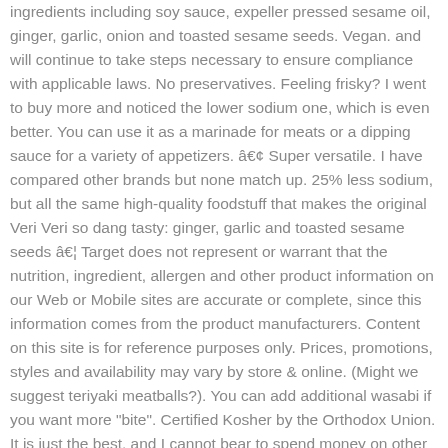ingredients including soy sauce, expeller pressed sesame oil, ginger, garlic, onion and toasted sesame seeds. Vegan. and will continue to take steps necessary to ensure compliance with applicable laws. No preservatives. Feeling frisky? I went to buy more and noticed the lower sodium one, which is even better. You can use it as a marinade for meats or a dipping sauce for a variety of appetizers. â€¢ Super versatile. I have compared other brands but none match up. 25% less sodium, but all the same high-quality foodstuff that makes the original Veri Veri so dang tasty: ginger, garlic and toasted sesame seeds â€¦ Target does not represent or warrant that the nutrition, ingredient, allergen and other product information on our Web or Mobile sites are accurate or complete, since this information comes from the product manufacturers. Content on this site is for reference purposes only. Prices, promotions, styles and availability may vary by store & online. (Might we suggest teriyaki meatballs?). You can add additional wasabi if you want more "bite". Certified Kosher by the Orthodox Union. It is just the best, and I cannot bear to spend money on other brands. 25% less sodium, but all the same high-quality foodstuff that makes the original Veri Veri so dang tasty: ginger, garlic and toasted sesame seeds swimming in savory soy sauce. While they do take a bit of time to assemble, they are worth it. Thus,